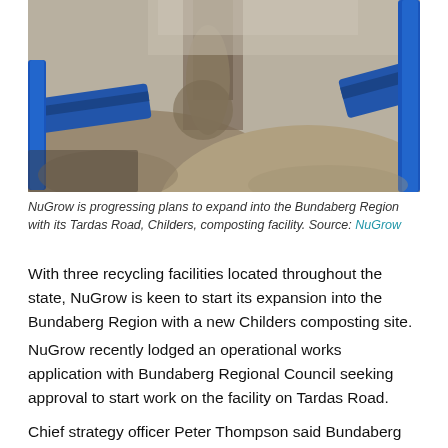[Figure (photo): Industrial composting machinery with blue conveyor belts moving soil/compost material, large mounds of earth/compost in background, outdoor setting with clear sky.]
NuGrow is progressing plans to expand into the Bundaberg Region with its Tardas Road, Childers, composting facility. Source: NuGrow
With three recycling facilities located throughout the state, NuGrow is keen to start its expansion into the Bundaberg Region with a new Childers composting site.
NuGrow recently lodged an operational works application with Bundaberg Regional Council seeking approval to start work on the facility on Tardas Road.
Chief strategy officer Peter Thompson said Bundaberg was a logical choice for NuGrow's next facility which he hoped